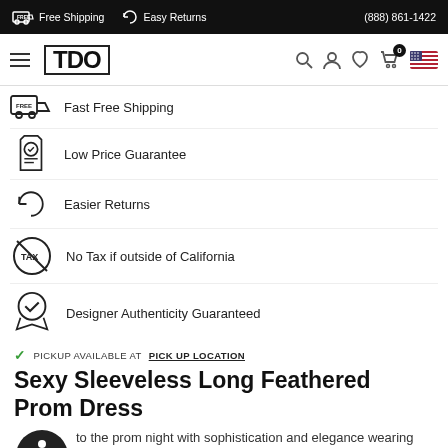Free Shipping  Easy Returns  (888) 861-1422
[Figure (logo): TDO logo in bordered box with hamburger menu and navigation icons]
Fast Free Shipping
Low Price Guarantee
Easier Returns
No Tax if outside of California
Designer Authenticity Guaranteed
PICKUP AVAILABLE AT PICK UP LOCATION
Sexy Sleeveless Long Feathered Prom Dress
to the prom night with sophistication and elegance wearing this splendid long dress. Crowned with a feather and